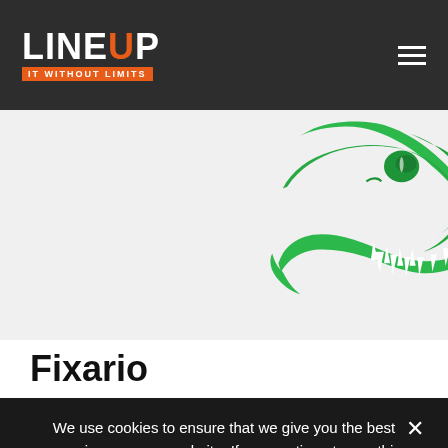LINEUP IT WITHOUT LIMITS
[Figure (logo): Green dinosaur/dragon head silhouette logo for Fixario]
Fixario
We use cookies to ensure that we give you the best experience on our website. If you continue to use this site we will assume that you are happy with it.
Ok  Privacy policy